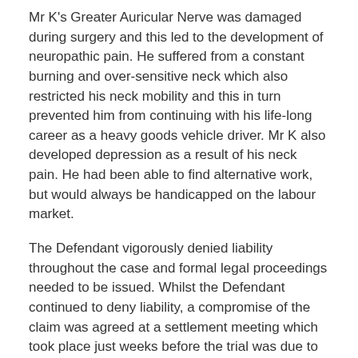Mr K's Greater Auricular Nerve was damaged during surgery and this led to the development of neuropathic pain. He suffered from a constant burning and over-sensitive neck which also restricted his neck mobility and this in turn prevented him from continuing with his life-long career as a heavy goods vehicle driver. Mr K also developed depression as a result of his neck pain. He had been able to find alternative work, but would always be handicapped on the labour market.
The Defendant vigorously denied liability throughout the case and formal legal proceedings needed to be issued. Whilst the Defendant continued to deny liability, a compromise of the claim was agreed at a settlement meeting which took place just weeks before the trial was due to take place. Settlement was agreed at £120,000.
Paul Kingsley, one of our expert clinical negligence solicitors, said:
"This was a difficult and hard-fought claim in during a case...